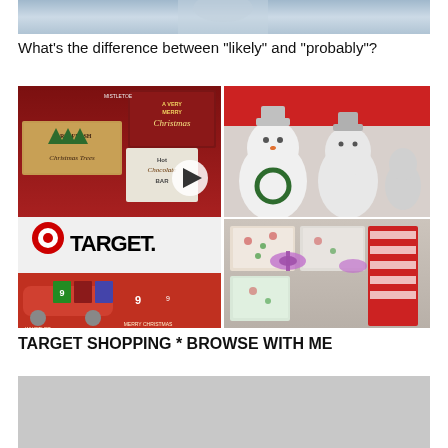[Figure (screenshot): Partial top image of a person in a blue shirt, screenshot of a video thumbnail]
What's the difference between "likely" and "probably"?
[Figure (screenshot): Target shopping video thumbnail showing Christmas decorations, Target logo, toy car, snowmen figures, and holiday clothing]
TARGET SHOPPING * BROWSE WITH ME
[Figure (screenshot): Partial grey/blank thumbnail at the bottom of the page]